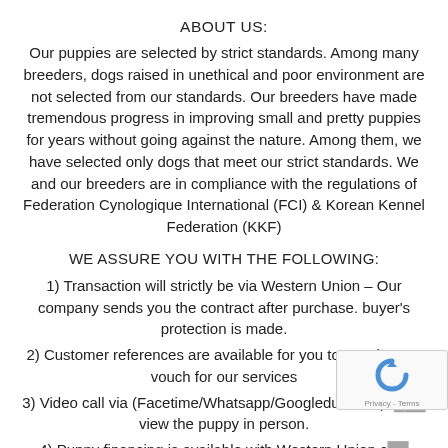ABOUT US:
Our puppies are selected by strict standards. Among many breeders, dogs raised in unethical and poor environment are not selected from our standards. Our breeders have made tremendous progress in improving small and pretty puppies for years without going against the nature. Among them, we have selected only dogs that meet our strict standards. We and our breeders are in compliance with the regulations of Federation Cynologique International (FCI) & Korean Kennel Federation (KKF)
WE ASSURE YOU WITH THE FOLLOWING:
1) Transaction will strictly be via Western Union – Our company sends you the contract after purchase. buyer's protection is made.
2) Customer references are available for you to speak to, to vouch for our services
3) Video call via (Facetime/Whatsapp/Googleduo etc..) f... view the puppy in person.
4) Puppy financing is available with Western Union c...